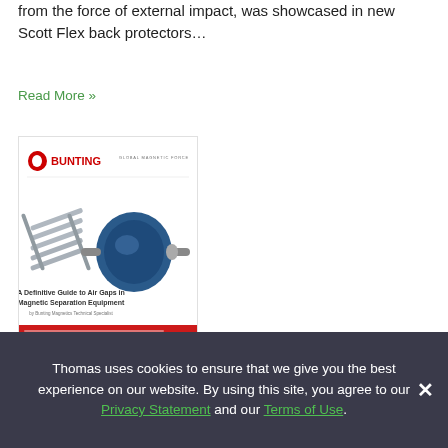from the force of external impact, was showcased in new Scott Flex back protectors…
Read More »
[Figure (illustration): Bunting Global Magnetic Force advertisement image showing magnetic separation equipment — a roller and bar magnets — with text 'A Definitive Guide to Air Gaps in Magnetic Separation Equipment']
Sponsored
A Definitive Guide to Air Gaps in Magnetic Separation Equipment
Thomas uses cookies to ensure that we give you the best experience on our website. By using this site, you agree to our Privacy Statement and our Terms of Use.